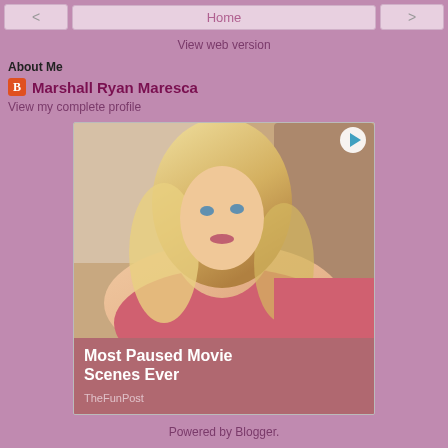< Home >
View web version
About Me
Marshall Ryan Maresca
View my complete profile
[Figure (photo): Advertisement showing a blonde woman in a pink outfit reclining, with text overlay 'Most Paused Movie Scenes Ever' and source 'TheFunPost']
Powered by Blogger.